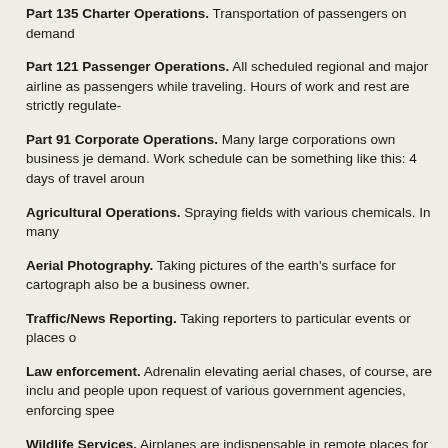Part 135 Charter Operations. Transportation of passengers on demand
Part 121 Passenger Operations. All scheduled regional and major airline as passengers while traveling. Hours of work and rest are strictly regulate-
Part 91 Corporate Operations. Many large corporations own business je demand. Work schedule can be something like this: 4 days of travel aroun
Agricultural Operations. Spraying fields with various chemicals. In many
Aerial Photography. Taking pictures of the earth's surface for cartograph also be a business owner.
Traffic/News Reporting. Taking reporters to particular events or places o
Law enforcement. Adrenalin elevating aerial chases, of course, are inclu and people upon request of various government agencies, enforcing spee
Wildlife Services. Airplanes are indispensable in remote places for study scientific data about flora and fauna.
Aerial Firefighting. Dispensing fire-suppressing agents from the air wher